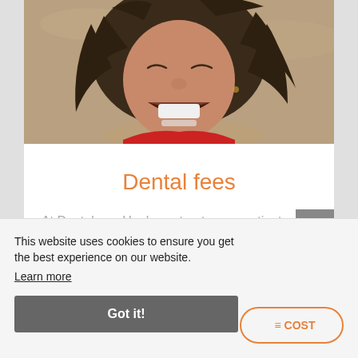[Figure (photo): A laughing woman with dark curly hair, eyes closed, mouth wide open showing teeth, wearing a red top, with a sandy/beach background]
Dental fees
At Dentalcare Hook, we treat every patient as an individuals, therefore each treatment plan is completely bespoke.
This website uses cookies to ensure you get the best experience on our website.
Learn more
Got it!
E COST